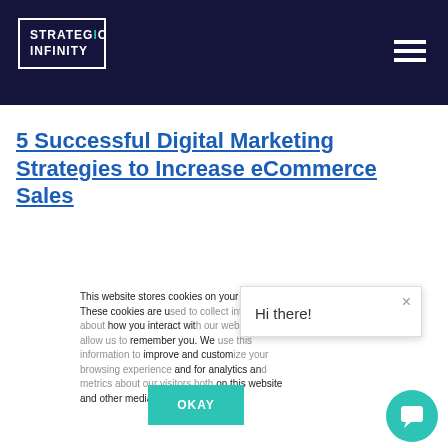STRATEGIC INFINITY
5 Successful Digital Marketing Strategies to Increase eCommerce Sales
This website stores cookies on your computer. These cookies are used to collect information about how you interact with our website and allow us to remember you. We use this information in order to improve and customize your browsing experience and for analytics and metrics about our visitors both on this website and other media.
Hi there!
OKAY